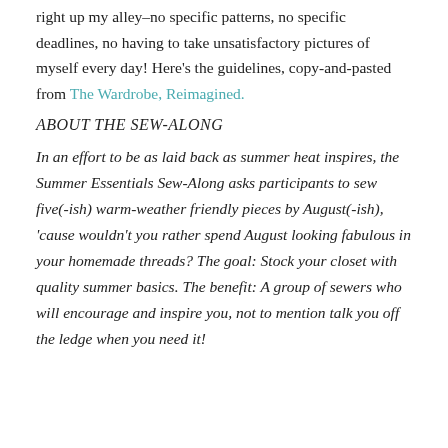right up my alley–no specific patterns, no specific deadlines, no having to take unsatisfactory pictures of myself every day! Here's the guidelines, copy-and-pasted from The Wardrobe, Reimagined.
ABOUT THE SEW-ALONG
In an effort to be as laid back as summer heat inspires, the Summer Essentials Sew-Along asks participants to sew five(-ish) warm-weather friendly pieces by August(-ish), 'cause wouldn't you rather spend August looking fabulous in your homemade threads? The goal: Stock your closet with quality summer basics. The benefit: A group of sewers who will encourage and inspire you, not to mention talk you off the ledge when you need it!